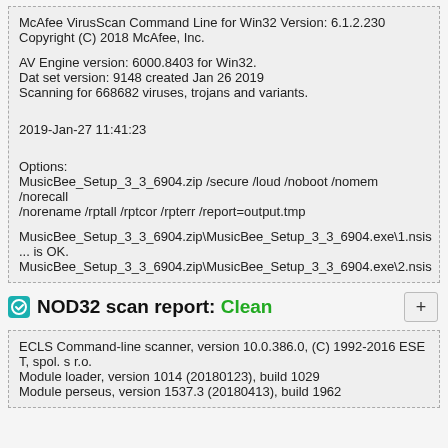McAfee VirusScan Command Line for Win32 Version: 6.1.2.230
Copyright (C) 2018 McAfee, Inc.

AV Engine version: 6000.8403 for Win32.
Dat set version: 9148 created Jan 26 2019
Scanning for 668682 viruses, trojans and variants.


2019-Jan-27 11:41:23


Options:
MusicBee_Setup_3_3_6904.zip /secure /loud /noboot /nomem /norecall /norename /rptall /rptcor /rpterr /report=output.tmp

MusicBee_Setup_3_3_6904.zip\MusicBee_Setup_3_3_6904.exe\1.nsis
... is OK.
MusicBee_Setup_3_3_6904.zip\MusicBee_Setup_3_3_6904.exe\2.nsis
NOD32 scan report: Clean
ECLS Command-line scanner, version 10.0.386.0, (C) 1992-2016 ESET, spol. s r.o.
Module loader, version 1014 (20180123), build 1029
Module perseus, version 1537.3 (20180413), build 1962